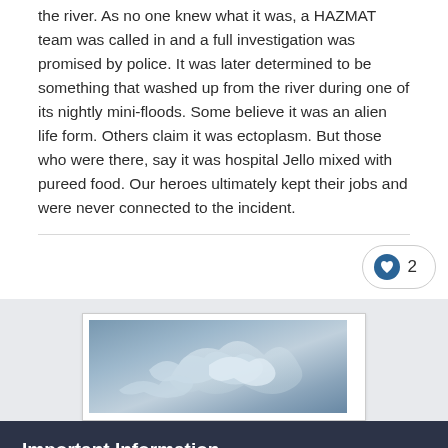the river. As no one knew what it was, a HAZMAT team was called in and a full investigation was promised by police. It was later determined to be something that washed up from the river during one of its nightly mini-floods. Some believe it was an alien life form. Others claim it was ectoplasm. But those who were there, say it was hospital Jello mixed with pureed food. Our heroes ultimately kept their jobs and were never connected to the incident.
[Figure (illustration): Heart/like button with count of 2]
[Figure (photo): Photograph showing cloudy sky with wispy cloud formations]
Important Information
By using this site, you agree to our Guidelines.
✓  I accept